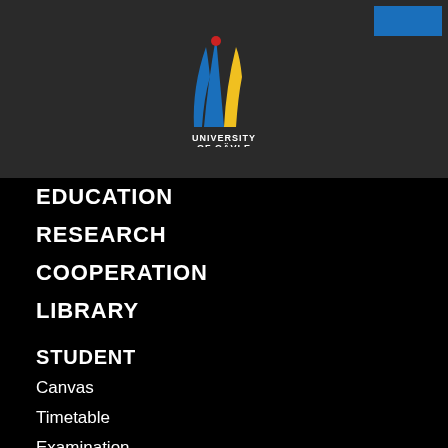[Figure (logo): University of Gävle logo with colorful abstract figure (blue, yellow, red) above text UNIVERSITY OF GÄVLE in white]
EDUCATION
RESEARCH
COOPERATION
LIBRARY
STUDENT
Canvas
Timetable
Examination